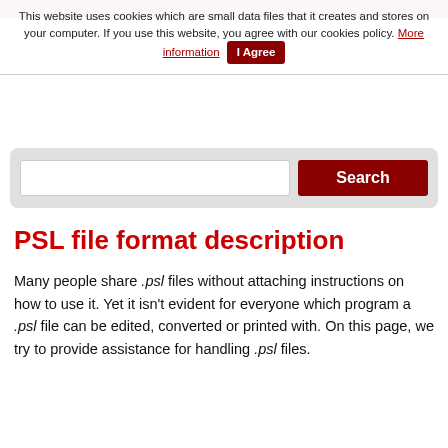This website uses cookies which are small data files that it creates and stores on your computer. If you use this website, you agree with our cookies policy. More information | I Agree
[Figure (screenshot): Search bar with text input field and dark red Search button]
PSL file format description
Many people share .psl files without attaching instructions on how to use it. Yet it isn't evident for everyone which program a .psl file can be edited, converted or printed with. On this page, we try to provide assistance for handling .psl files.